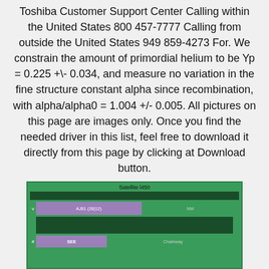Toshiba Customer Support Center Calling within the United States 800 457-7777 Calling from outside the United States 949 859-4273 For. We constrain the amount of primordial helium to be Yp = 0.225 +/- 0.034, and measure no variation in the fine structure constant alpha since recombination, with alpha/alpha0 = 1.004 +/- 0.005. All pictures on this page are images only. Once you find the needed driver in this list, feel free to download it directly from this page by clicking at Download button.
[Figure (screenshot): A screenshot of a software interface showing a table or list with a green background. Title bar reads 'Satellite l450'. Rows include entries with purple and dark green bars. Row labeled 'v' shows 'AJ81 (28|12)' in purple and 'NM' in green. Another dark green bar below. Row labeled '#' shows 'SEE' in purple and 'Chainway' in green.]